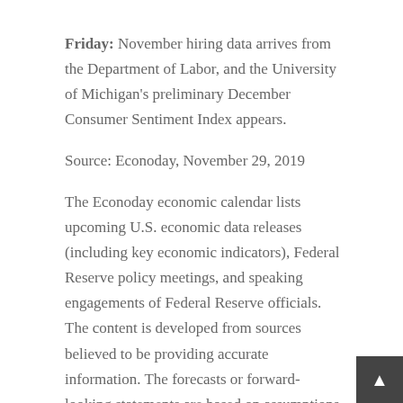Friday: November hiring data arrives from the Department of Labor, and the University of Michigan's preliminary December Consumer Sentiment Index appears.
Source: Econoday, November 29, 2019
The Econoday economic calendar lists upcoming U.S. economic data releases (including key economic indicators), Federal Reserve policy meetings, and speaking engagements of Federal Reserve officials. The content is developed from sources believed to be providing accurate information. The forecasts or forward-looking statements are based on assumptions and may not